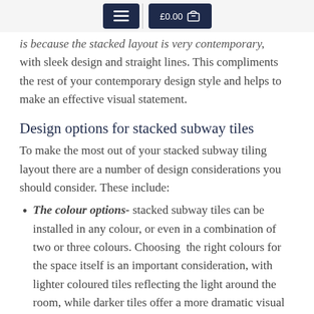≡  £0.00 🛒
is because the stacked layout is very contemporary, with sleek design and straight lines. This compliments the rest of your contemporary design style and helps to make an effective visual statement.
Design options for stacked subway tiles
To make the most out of your stacked subway tiling layout there are a number of design considerations you should consider. These include:
The colour options- stacked subway tiles can be installed in any colour, or even in a combination of two or three colours. Choosing  the right colours for the space itself is an important consideration, with lighter coloured tiles reflecting the light around the room, while darker tiles offer a more dramatic visual effect.
The pattern options- patterned subway tiles can also